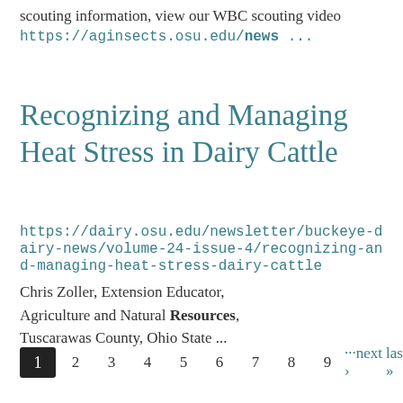scouting information, view our WBC scouting video https://aginsects.osu.edu/news ...
Recognizing and Managing Heat Stress in Dairy Cattle
https://dairy.osu.edu/newsletter/buckeye-dairy-news/volume-24-issue-4/recognizing-and-managing-heat-stress-dairy-cattle
Chris Zoller, Extension Educator, Agriculture and Natural Resources, Tuscarawas County, Ohio State ...
1 2 3 4 5 6 7 8 9 ···next › last »